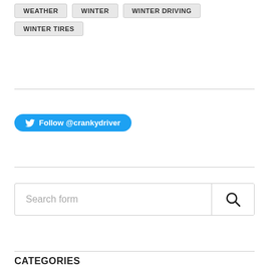WEATHER
WINTER
WINTER DRIVING
WINTER TIRES
[Figure (other): Twitter Follow @crankydriver button]
Search form
CATEGORIES